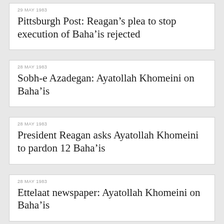29 MAY 1983
Pittsburgh Post: Reagan’s plea to stop execution of Baha’is rejected
28 MAY 1983
Sobh-e Azadegan: Ayatollah Khomeini on Baha’is
28 MAY 1983
President Reagan asks Ayatollah Khomeini to pardon 12 Baha’is
28 MAY 1983
Ettelaat newspaper: Ayatollah Khomeini on Baha’is
28 MAY 1983
Jomhuri-e Islami: Ayatollah Khomeini on